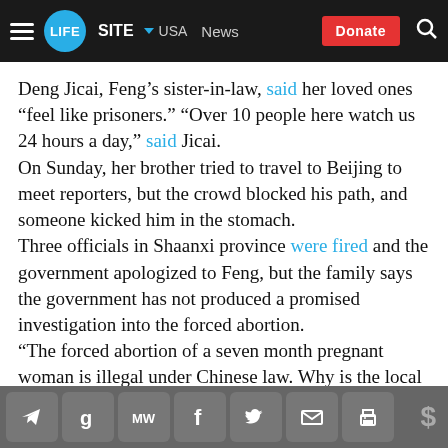LIFESITE | USA | News | Donate
Deng Jicai, Feng’s sister-in-law, said her loved ones “feel like prisoners.” “Over 10 people here watch us 24 hours a day,” said Jicai.
On Sunday, her brother tried to travel to Beijing to meet reporters, but the crowd blocked his path, and someone kicked him in the stomach.
Three officials in Shaanxi province were fired and the government apologized to Feng, but the family says the government has not produced a promised investigation into the forced abortion.
“The forced abortion of a seven month pregnant woman is illegal under Chinese law. Why is the local
Social share icons: Telegram, Google, MW, Facebook, Twitter, Email, Print | Donate $